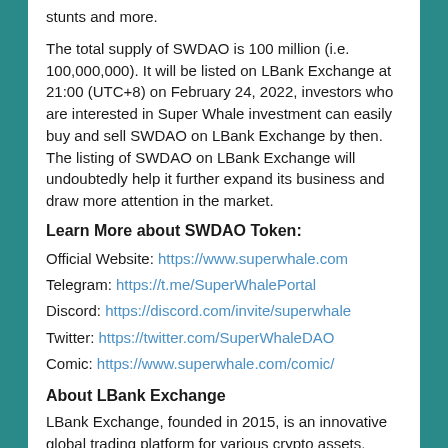stunts and more.
The total supply of SWDAO is 100 million (i.e. 100,000,000). It will be listed on LBank Exchange at 21:00 (UTC+8) on February 24, 2022, investors who are interested in Super Whale investment can easily buy and sell SWDAO on LBank Exchange by then. The listing of SWDAO on LBank Exchange will undoubtedly help it further expand its business and draw more attention in the market.
Learn More about SWDAO Token:
Official Website: https://www.superwhale.com
Telegram: https://t.me/SuperWhalePortal
Discord: https://discord.com/invite/superwhale
Twitter: https://twitter.com/SuperWhaleDAO
Comic: https://www.superwhale.com/comic/
About LBank Exchange
LBank Exchange, founded in 2015, is an innovative global trading platform for various crypto assets.